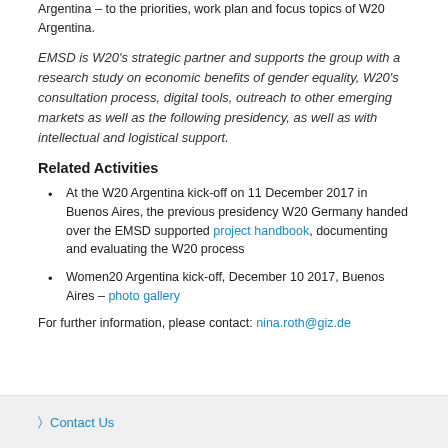Argentina – to the priorities, work plan and focus topics of W20 Argentina.
EMSD is W20's strategic partner and supports the group with a research study on economic benefits of gender equality, W20's consultation process, digital tools, outreach to other emerging markets as well as the following presidency, as well as with intellectual and logistical support.
Related Activities
At the W20 Argentina kick-off on 11 December 2017 in Buenos Aires, the previous presidency W20 Germany handed over the EMSD supported project handbook, documenting and evaluating the W20 process
Women20 Argentina kick-off, December 10 2017, Buenos Aires – photo gallery
For further information, please contact: nina.roth@giz.de
Contact Us